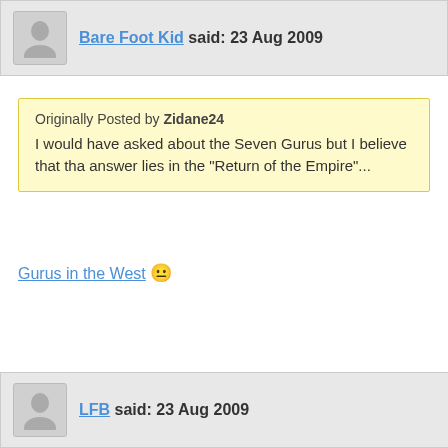Bare Foot Kid said: 23 Aug 2009
Originally Posted by Zidane24
I would have asked about the Seven Gurus but I believe that tha answer lies in the "Return of the Empire"...
Gurus in the West 😐
LFB said: 23 Aug 2009